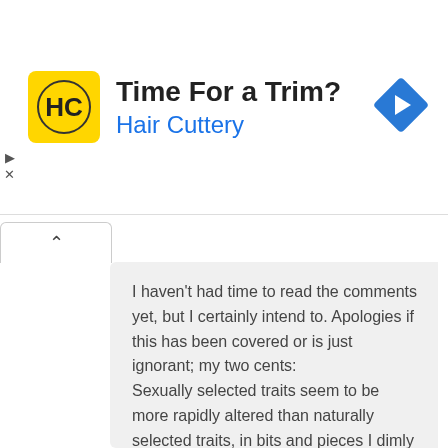[Figure (logo): Hair Cuttery advertisement banner with HC logo and blue arrow navigation icon. Text: 'Time For a Trim?' and 'Hair Cuttery']
I haven't had time to read the comments yet, but I certainly intend to. Apologies if this has been covered or is just ignorant; my two cents:
Sexually selected traits seem to be more rapidly altered than naturally selected traits, in bits and pieces I dimly recall from reading science articles (genes controlling surface features like hair and eye color in humans showing rapid change, etc).
If the plates are read as sex appeal or simply as species signifiers for environments where more than one species of stegosaur is found, then I imagine they could change radically in size and shape over time. So we could see a species fundamentally the same but with great variation